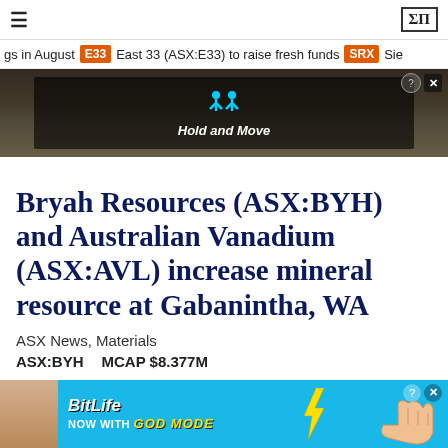≡   ΣΠ
gs in August  E33  East 33 (ASX:E33) to raise fresh funds  SRX  Sie
[Figure (photo): Advertisement banner showing outdoor/nature scene with 'Hold and Move' text overlay]
Bryah Resources (ASX:BYH) and Australian Vanadium (ASX:AVL) increase mineral resource at Gabanintha, WA
ASX News, Materials
ASX:BYH    MCAP $8.377M
[Figure (photo): BitLife advertisement - Now with GOD MODE]